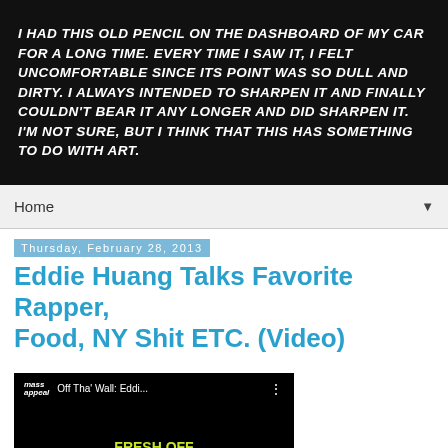[Figure (illustration): Black background banner with white handwritten-style uppercase italic text reading: I HAD THIS OLD PENCIL ON THE DASHBOARD OF MY CAR FOR A LONG TIME. EVERY TIME I SAW IT, I FELT UNCOMFORTABLE SINCE ITS POINT WAS SO DULL AND DIRTY. I ALWAYS INTENDED TO SHARPEN IT AND FINALLY COULDN'T BEAR IT ANY LONGER AND DID SHARPEN IT. I'M NOT SURE, BUT I THINK THAT THIS HAS SOMETHING TO DO WITH ART.]
Home
Thursday, February 28, 2013
Eddie Huang Talks Favorite Rapper, Food, NY Shit ETC. (Video)
[Figure (screenshot): YouTube video thumbnail showing Mass Appeal channel, title 'Off Tha' Wall: Eddi...' with three-dot menu icon. Below shows Fresh Off The Boat book cover by Eddie Huang with yellow and white text on black background, with a red YouTube play button overlay.]